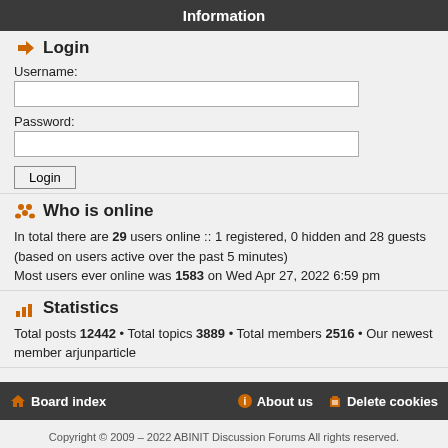Information
Login
Username:
Password:
Who is online
In total there are 29 users online :: 1 registered, 0 hidden and 28 guests (based on users active over the past 5 minutes)
Most users ever online was 1583 on Wed Apr 27, 2022 6:59 pm
Statistics
Total posts 12442 • Total topics 3889 • Total members 2516 • Our newest member arjunparticle
Board index   About us   Delete cookies
Copyright © 2009 – 2022 ABINIT Discussion Forums All rights reserved.